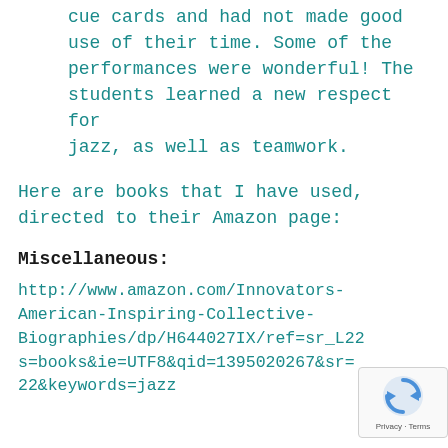cue cards and had not made good use of their time. Some of the performances were wonderful! The students learned a new respect for jazz, as well as teamwork.
Here are books that I have used, directed to their Amazon page:
Miscellaneous:
http://www.amazon.com/Innovators-American-Inspiring-Collective-Biographies/dp/H644027IX/ref=sr_L22  s=books&ie=UTF8&qid=1395020267&sr=22&keywords=jazz